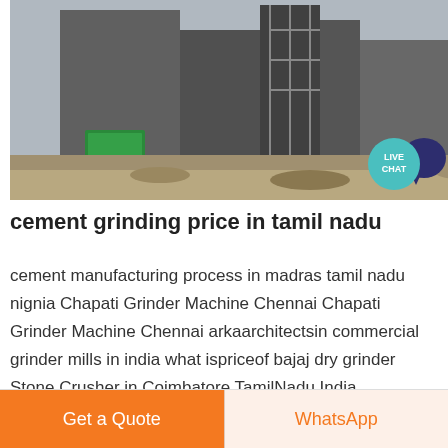[Figure (photo): Industrial cement grinding facility with large structures, scaffolding, machinery, and a green container visible. Construction/industrial site.]
cement grinding price in tamil nadu
cement manufacturing process in madras tamil nadu nignia Chapati Grinder Machine Chennai Chapati Grinder Machine Chennai arkaarchitectsin commercial grinder mills in india what ispriceof bajaj dry grinder Stone Crusher in Coimbatore TamilNadu India IndiaMART We offer our clients with a wide range of Double Toggle Oil Stone Crushers that is
Get a Quote
WhatsApp